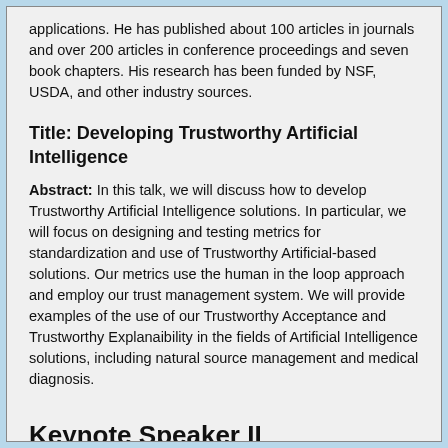applications. He has published about 100 articles in journals and over 200 articles in conference proceedings and seven book chapters. His research has been funded by NSF, USDA, and other industry sources.
Title: Developing Trustworthy Artificial Intelligence
Abstract: In this talk, we will discuss how to develop Trustworthy Artificial Intelligence solutions. In particular, we will focus on designing and testing metrics for standardization and use of Trustworthy Artificial-based solutions. Our metrics use the human in the loop approach and employ our trust management system. We will provide examples of the use of our Trustworthy Acceptance and Trustworthy Explanaibility in the fields of Artificial Intelligence solutions, including natural source management and medical diagnosis.
Keynote Speaker II